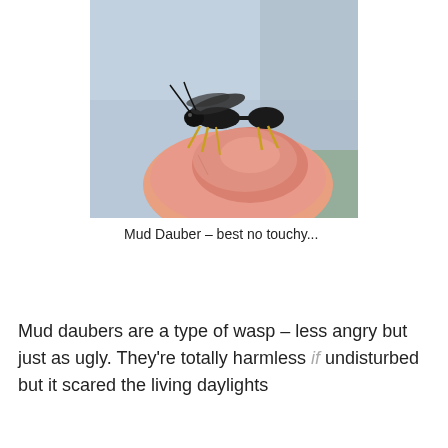[Figure (photo): A close-up photograph of a mud dauber wasp (black body with yellow legs) perched on a human finger, with a blurred background.]
Mud Dauber – best no touchy...
Mud daubers are a type of wasp – less angry but just as ugly. They're totally harmless if undisturbed but it scared the living daylights